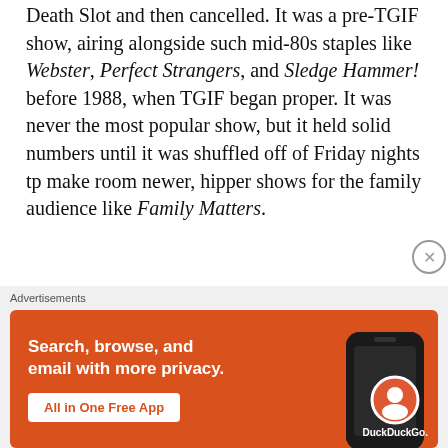Death Slot and then cancelled. It was a pre-TGIF show, airing alongside such mid-80s staples like Webster, Perfect Strangers, and Sledge Hammer! before 1988, when TGIF began proper. It was never the most popular show, but it held solid numbers until it was shuffled off of Friday nights tp make room newer, hipper shows for the family audience like Family Matters.
But I'm here to praise Mr. Belvedere, not to bury it, so with that we'll be watching an episode from the only season that ran on TGIF proper, the third episode of its fourth season, "Triangle."
[Figure (other): DuckDuckGo advertisement banner with orange background showing 'Search, browse, and email with more privacy. All in One Free App' text and a smartphone mockup with DuckDuckGo logo]